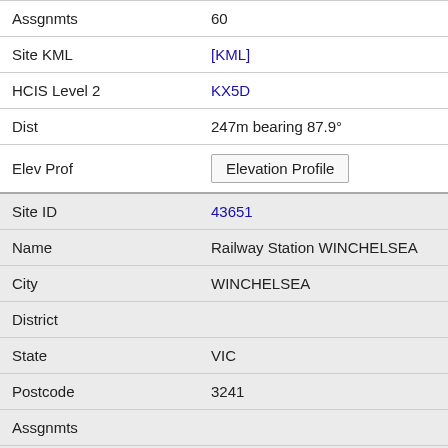| Field | Value |
| --- | --- |
| Assgnmts | 60 |
| Site KML | [KML] |
| HCIS Level 2 | KX5D |
| Dist | 247m bearing 87.9° |
| Elev Prof | Elevation Profile |
| Site ID | 43651 |
| Name | Railway Station WINCHELSEA |
| City | WINCHELSEA |
| District |  |
| State | VIC |
| Postcode | 3241 |
| Assgnmts |  |
| Site KML | [KML] |
| HCIS Level 2 | KX5D |
| Dist | 417m bearing 333.9° |
| Elev Prof | Elevation Profile |
| Site ID | 43000 |